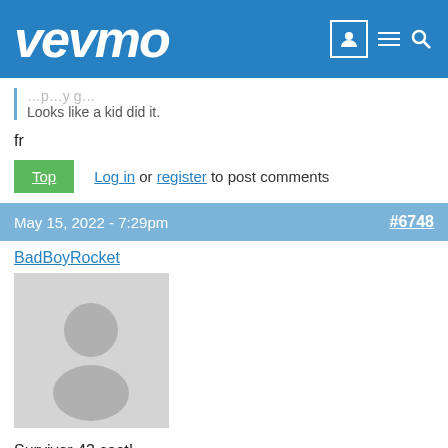vevmo
Looks like a kid did it.
fr
Top  Log in or register to post comments
May 15, 2022 - 7:29pm  #6748
BadBoyRocket
[Figure (photo): Default user avatar placeholder — grey circle head and body silhouette on light grey background]
Survivor 43 cast!